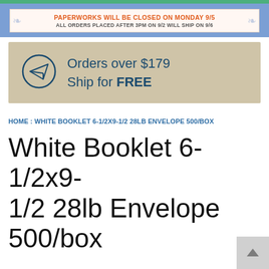[Figure (screenshot): Green top navigation bar]
PAPERWORKS WILL BE CLOSED ON MONDAY 9/5
ALL ORDERS PLACED AFTER 3PM ON 9/2 WILL SHIP ON 9/6
[Figure (illustration): Promotional banner on cardboard background showing paper airplane icon in circle with text: Orders over $179 Ship for FREE]
HOME : WHITE BOOKLET 6-1/2X9-1/2 28LB ENVELOPE 500/BOX
White Booklet 6-1/2x9-1/2 28lb Envelope 500/box